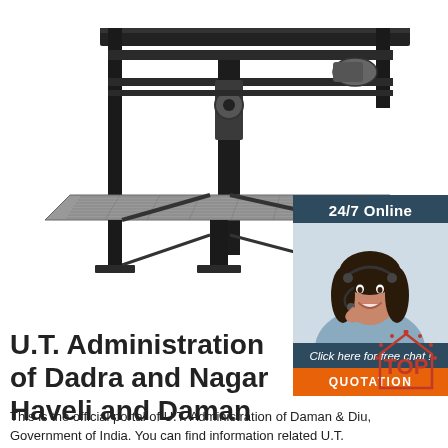[Figure (photo): Industrial multi-level mechanical parking lift / conveyor machine on white background]
[Figure (infographic): 24/7 Online chat widget with a woman wearing a headset. Dark blue background with orange QUOTATION button.]
U.T. Administration of Dadra and Nagar Haveli and Daman ...
[Figure (logo): Red TOP badge with arrow/house shape and dots]
This is the official portal of U.T. Administration of Daman & Diu, Government of India. You can find information related U.T. Administration's Notifications, Circulars, Orders